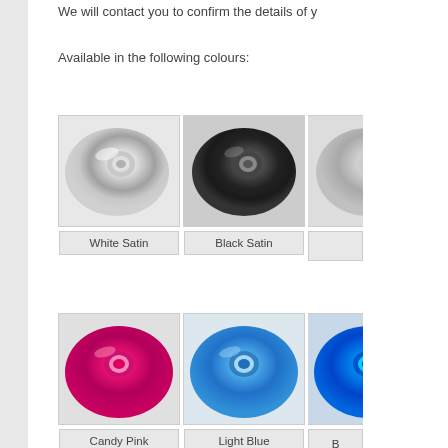We will contact you to confirm the details of y
Available in the following colours:
[Figure (photo): Three rolls of satin ribbon: White Satin (silver/white roll), Black Satin (dark roll), and a partially visible third silver roll]
White Satin
Black Satin
[Figure (photo): Three rolls of satin ribbon: Candy Pink (hot pink/magenta roll), Light Blue (sky blue roll), and a partially visible dark blue roll labeled B]
Candy Pink
Light Blue